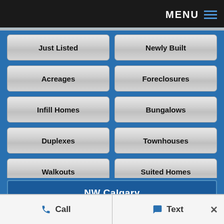MENU
Just Listed
Newly Built
Acreages
Foreclosures
Infill Homes
Bungalows
Duplexes
Townhouses
Walkouts
Suited Homes
NW Calgary
SW Calgary
Call   Text